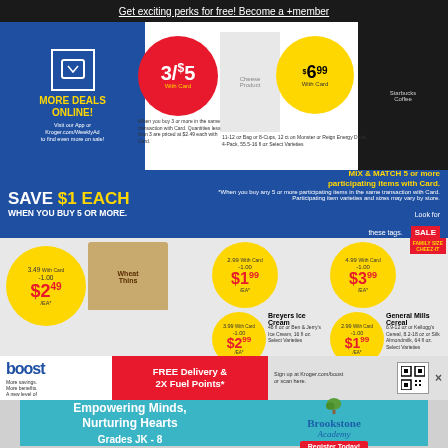Get exciting perks for free! Become a +member
[Figure (infographic): Kroger grocery ad banner showing More Deals Online, 3/$5 with card offer, and $6.99 with card offer for various grocery products]
SAVE $1 EACH WHEN YOU BUY 5 OR MORE. MIX & MATCH 5 or more participating items with Card. Look for these tags. SALE
[Figure (infographic): Nabisco Snack Crackers $2.49/ea (3.49 with card, -1.00), Wheat Thins and Kraft Singles product images. 3.5-9 oz or Ball Park Buns, 8 ct or Kraft Singles, 16 ct Select Varieties]
[Figure (infographic): Philadelphia Cream Cheese $1.99/ea (2.99 with card, -1.00). 8 oz Ken's Salad Dressing, 16 fl oz or Sweet Baby Ray's Barbecue Sauce, 28 oz or Wing Sauce or Marinade, 14 fl oz. Select Varieties]
[Figure (infographic): Hellmann's Real Mayonnaise $3.99/ea (4.99 with card, -1.00) or Miracle Whip 30 fl oz or Family Size Cheez-It Crackers, 17-21 oz. Select Varieties. Family Size Cheez-It box shown.]
[Figure (infographic): Breyers Ice Cream $2.99/ea (3.99 with card, -1.00). 48 fl oz or Ben & Jerry's Ice Cream, 16 fl oz or Haagen-Dazs Ice Cream, 14 fl oz or Ice Cream Bars, 3 ct. Select Varieties]
[Figure (infographic): General Mills Cereal $1.99/ea (2.99 with card, -1.00). 6.9-12 oz or Kellogg's Cereal, 8.2-18 oz or Silk Almondmilk, 64 fl oz. Select Varieties. Frosted Flakes, Cheerios, Silk carton shown.]
[Figure (infographic): Boost loyalty program banner: More savings. More benefits. A new level of. FREE Delivery & 2X Fuel Points*. Sign up at Kroger.com/boost or scan here. QR code shown.]
Empowering Minds, Nurturing Hearts
Grades JK - 8
Brookstone Academy
Register Today!